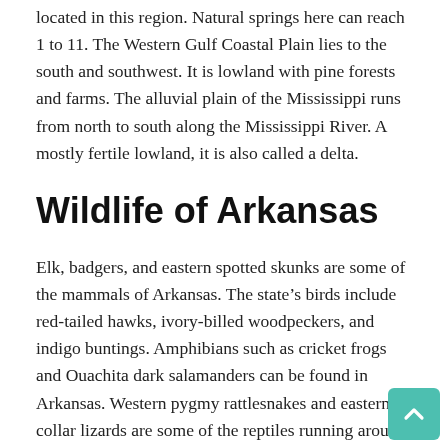located in this region. Natural springs here can reach 1 to 11. The Western Gulf Coastal Plain lies to the south and southwest. It is lowland with pine forests and farms. The alluvial plain of the Mississippi runs from north to south along the Mississippi River. A mostly fertile lowland, it is also called a delta.
Wildlife of Arkansas
Elk, badgers, and eastern spotted skunks are some of the mammals of Arkansas. The state's birds include red-tailed hawks, ivory-billed woodpeckers, and indigo buntings. Amphibians such as cricket frogs and Ouachita dark salamanders can be found in Arkansas. Western pygmy rattlesnakes and eastern collar lizards are some of the reptiles running around the state. Common trees include hickory, plum, hawthorn, and pine. Maple leaf oak exists only in Arkansas. Wildflowers are plentiful and include American beauty, wild bergamot, and orange echinacea.